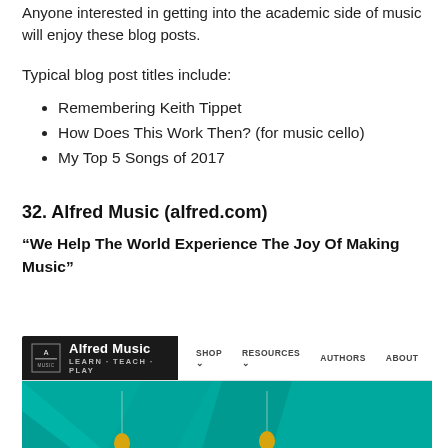Anyone interested in getting into the academic side of music will enjoy these blog posts.
Typical blog post titles include:
Remembering Keith Tippet
How Does This Work Then? (for music cello)
My Top 5 Songs of 2017
32. Alfred Music (alfred.com)
“We Help The World Experience The Joy Of Making Music”
[Figure (screenshot): Screenshot of Alfred Music website (alfred.com) showing the navigation bar with logo, Shop, Resources, Authors, About links, and a teal hero section with geometric diamond shapes.]